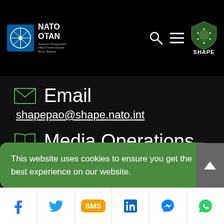NATO OTAN / SHAPE — Supreme Headquarters Allied Powers Europe
Email
shapepao@shape.nato.int
Media Operations
Public Affairs Office
This website uses cookies to ensure you get the best experience on our website.
Social links: Facebook, Twitter, SMS, LinkedIn, Messenger, WhatsApp